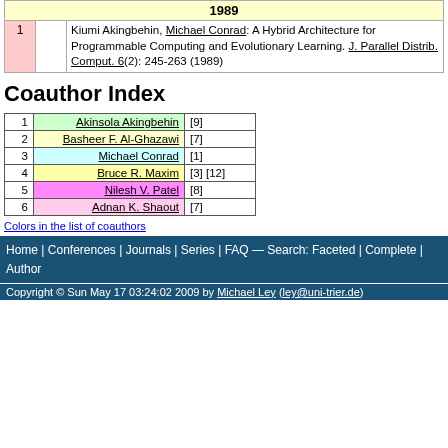| # |  | Publication |
| --- | --- | --- |
| 1 |  | Kiumi Akingbehin, Michael Conrad: A Hybrid Architecture for Programmable Computing and Evolutionary Learning. J. Parallel Distrib. Comput. 6(2): 245-263 (1989) |
Coauthor Index
| # | Name | Refs |
| --- | --- | --- |
| 1 | Akinsola Akingbehin | [9] |
| 2 | Basheer F. Al-Ghazawi | [7] |
| 3 | Michael Conrad | [1] |
| 4 | Bruce R. Maxim | [3] [12] |
| 5 | Nilesh V. Patel | [8] |
| 6 | Adnan K. Shaout | [7] |
Colors in the list of coauthors
Home | Conferences | Journals | Series | FAQ — Search: Faceted | Complete | Author
Copyright © Sun May 17 03:24:02 2009 by Michael Ley (ley@uni-trier.de)